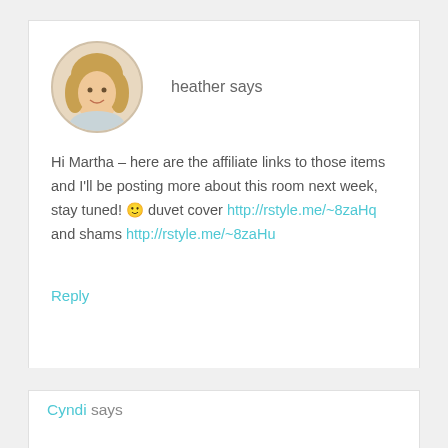[Figure (photo): Circular avatar photo of a blonde woman smiling, used as commenter profile picture]
heather says
Hi Martha – here are the affiliate links to those items and I'll be posting more about this room next week, stay tuned! 🙂 duvet cover http://rstyle.me/~8zaHq and shams http://rstyle.me/~8zaHu
Reply
Cyndi says